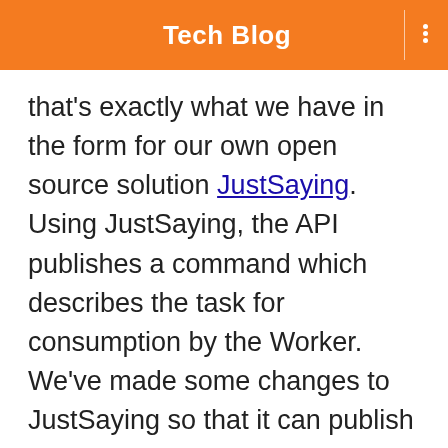Tech Blog
that's exactly what we have in the form for our own open source solution JustSaying. Using JustSaying, the API publishes a command which describes the task for consumption by the Worker. We've made some changes to JustSaying so that it can publish this command directly to Amazon SQS with the Worker subscribing directly to that same queue. So, here's what our API looks like now: